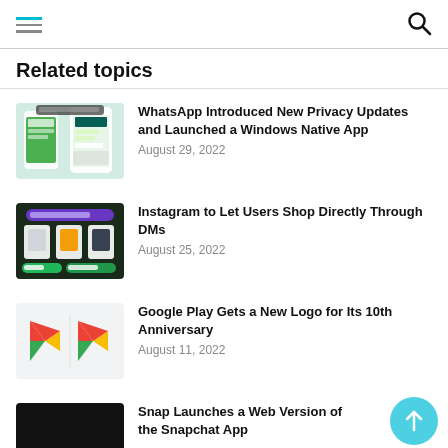Navigation header with hamburger menu and search icon
Related topics
[Figure (screenshot): WhatsApp privacy update screenshot showing phone screens]
WhatsApp Introduced New Privacy Updates and Launched a Windows Native App
August 29, 2022
[Figure (screenshot): Instagram shopping DMs screenshot showing clothing items]
Instagram to Let Users Shop Directly Through DMs
August 25, 2022
[Figure (logo): Google Play logo - two versions side by side on light background]
Google Play Gets a New Logo for Its 10th Anniversary
August 11, 2022
[Figure (screenshot): Snap web version screenshot - black background]
Snap Launches a Web Version of the Snapchat App